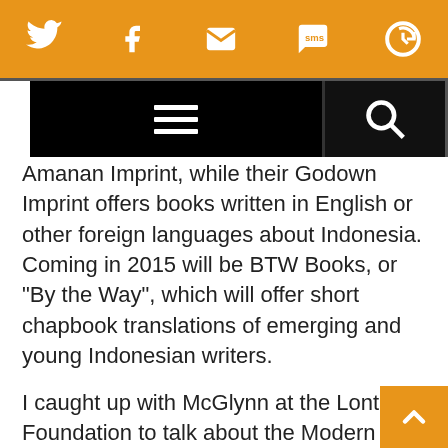[Social share bar: Twitter, Facebook, Email, SMS, Share icons]
[Figure (screenshot): Black navigation bar with hamburger menu icon and search icon]
Amanan imprint, while their Godown imprint offers books written in English or other foreign languages about Indonesia. Coming in 2015 will be BTW Books, or “By the Way”, which will offer short chapbook translations of emerging and young Indonesian writers.
I caught up with McGlynn at the Lontar Foundation to talk about the Modern Library series. Sixty-two years old, he’s been in Indonesia for nearly 4 years. With short cropped steel-grey hair and